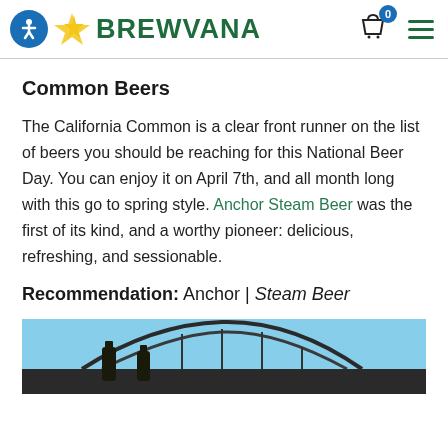BREWVANA
Common Beers
The California Common is a clear front runner on the list of beers you should be reaching for this National Beer Day. You can enjoy it on April 7th, and all month long with this go to spring style. Anchor Steam Beer was the first of its kind, and a worthy pioneer: delicious, refreshing, and sessionable.
Recommendation: Anchor | Steam Beer
[Figure (photo): Photo of beer bottles with a bridge structure in the background against a blue sky]